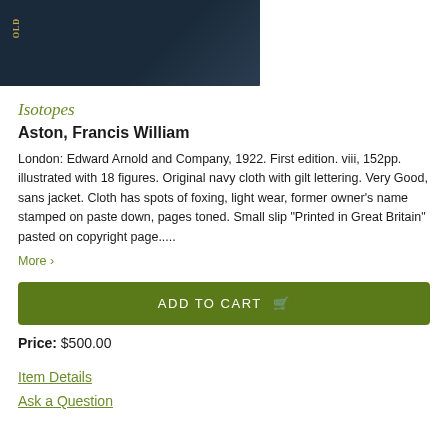[Figure (photo): Partial view of a dark navy hardcover book spine and cover]
Isotopes
Aston, Francis William
London: Edward Arnold and Company, 1922. First edition. viii, 152pp. illustrated with 18 figures. Original navy cloth with gilt lettering. Very Good, sans jacket. Cloth has spots of foxing, light wear, former owner's name stamped on paste down, pages toned. Small slip "Printed in Great Britain" pasted on copyright page.....
More >
ADD TO CART
Price: $500.00
Item Details
Ask a Question